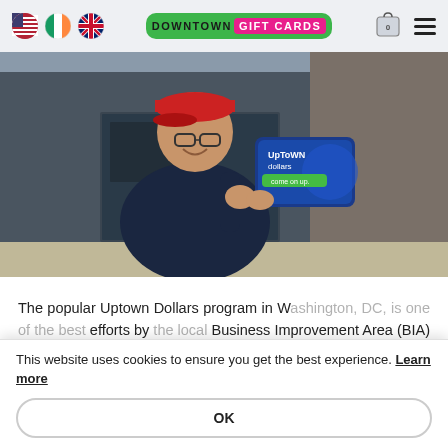Downtown Gift Cards – website header with flag icons, logo, cart, and hamburger menu
[Figure (photo): Man wearing red cap and glasses, holding an UpTown Dollars gift card in front of a storefront]
The popular Uptown Dollars program in W... efforts by the ... Business Improvement Area (BIA) to keep money Uptown and provide support for businesses
This website uses cookies to ensure you get the best experience. Learn more
OK